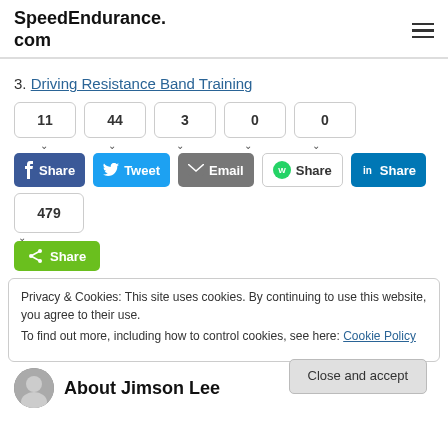SpeedEndurance.com
3. Driving Resistance Band Training
Share counts: 11, 44, 3, 0, 0
Share buttons: Share (Facebook), Tweet (Twitter), Email, Share (WhatsApp), Share (LinkedIn)
Share count: 479
Share button (generic green)
Privacy & Cookies: This site uses cookies. By continuing to use this website, you agree to their use. To find out more, including how to control cookies, see here: Cookie Policy
Close and accept
About Jimson Lee